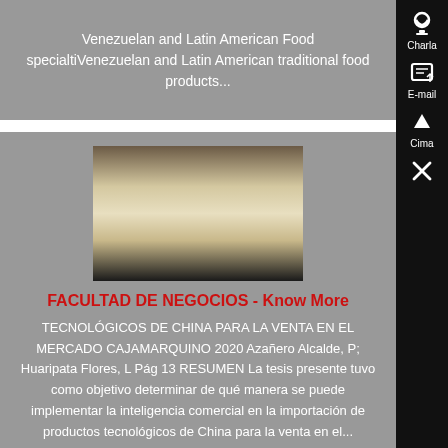Venezuelan and Latin American Food specialtiVenezuelan and Latin American traditional food products...
[Figure (photo): Close-up photo of what appears to be a curved wooden or material edge against a dark background]
FACULTAD DE NEGOCIOS - Know More
TECNOLÓGICOS DE CHINA PARA LA VENTA EN EL MERCADO CAJAMARQUINO 2020 Azañero Alcalde, P; Huaripata Flores, L Pág 13 RESUMEN La tesis presente tuvo como objetivo determinar de qué manera se puede implementar la inteligencia comercial en la importación de productos tecnológicos de China para la venta en el...
[Figure (photo): Partial view of another document card with a brownish/reddish image at the bottom of the page]